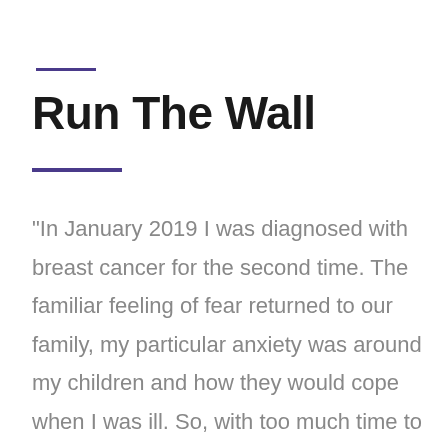Run The Wall
“In January 2019 I was diagnosed with breast cancer for the second time. The familiar feeling of fear returned to our family, my particular anxiety was around my children and how they would cope when I was ill. So, with too much time to